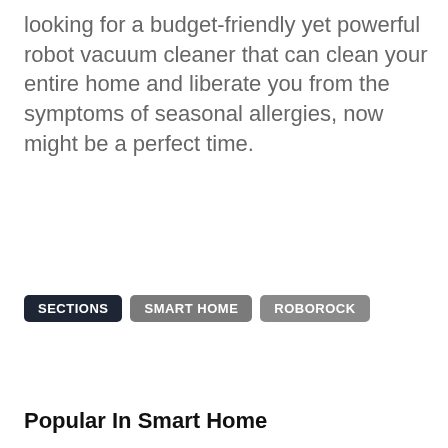looking for a budget-friendly yet powerful robot vacuum cleaner that can clean your entire home and liberate you from the symptoms of seasonal allergies, now might be a perfect time.
SECTIONS
SMART HOME
ROBOROCK
Popular In Smart Home